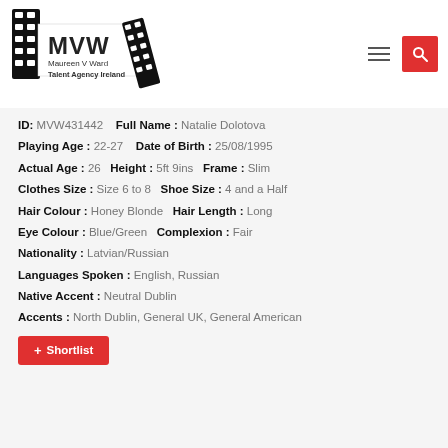[Figure (logo): MVW Maureen V Ward Talent Agency Ireland logo with film strip graphic]
ID: MVW431442   Full Name : Natalie Dolotova
Playing Age : 22-27   Date of Birth : 25/08/1995
Actual Age : 26   Height : 5ft 9ins   Frame : Slim
Clothes Size : Size 6 to 8   Shoe Size : 4 and a Half
Hair Colour : Honey Blonde   Hair Length : Long
Eye Colour : Blue/Green   Complexion : Fair
Nationality : Latvian/Russian
Languages Spoken : English, Russian
Native Accent : Neutral Dublin
Accents : North Dublin, General UK, General American
+ Shortlist